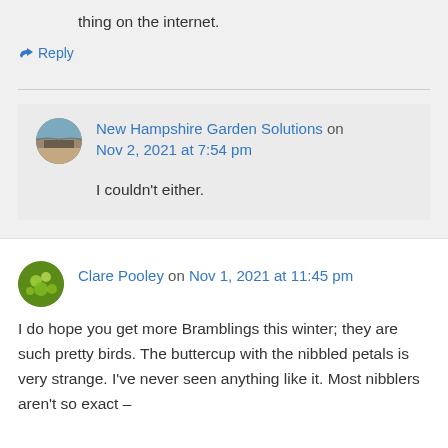thing on the internet.
↳ Reply
New Hampshire Garden Solutions on Nov 2, 2021 at 7:54 pm
I couldn't either.
Clare Pooley on Nov 1, 2021 at 11:45 pm
I do hope you get more Bramblings this winter; they are such pretty birds. The buttercup with the nibbled petals is very strange. I've never seen anything like it. Most nibblers aren't so exact –